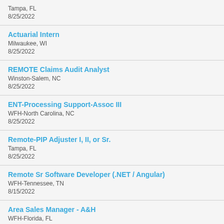Tampa, FL
8/25/2022
Actuarial Intern
Milwaukee, WI
8/25/2022
REMOTE Claims Audit Analyst
Winston-Salem, NC
8/25/2022
ENT-Processing Support-Assoc III
WFH-North Carolina, NC
8/25/2022
Remote-PIP Adjuster I, II, or Sr.
Tampa, FL
8/25/2022
Remote Sr Software Developer (.NET / Angular)
WFH-Tennessee, TN
8/15/2022
Area Sales Manager - A&H
WFH-Florida, FL
8/19/2022